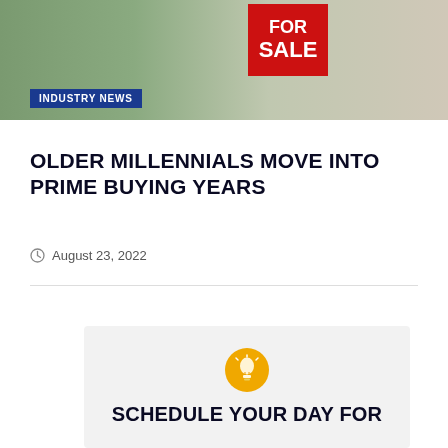[Figure (photo): Hero image of a house for sale with a red FOR SALE sign and people in the background]
INDUSTRY NEWS
OLDER MILLENNIALS MOVE INTO PRIME BUYING YEARS
August 23, 2022
SCHEDULE YOUR DAY FOR